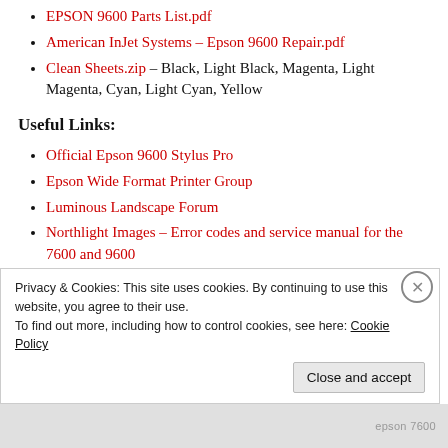EPSON 9600 Parts List.pdf
American InJet Systems – Epson 9600 Repair.pdf
Clean Sheets.zip – Black, Light Black, Magenta, Light Magenta, Cyan, Light Cyan, Yellow
Useful Links:
Official Epson 9600 Stylus Pro
Epson Wide Format Printer Group
Luminous Landscape Forum
Northlight Images – Error codes and service manual for the 7600 and 9600
Privacy & Cookies: This site uses cookies. By continuing to use this website, you agree to their use.
To find out more, including how to control cookies, see here: Cookie Policy
Close and accept